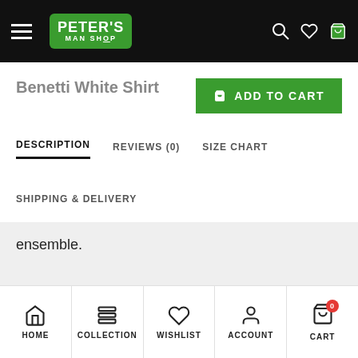Peter's Man Shop
Benetti White Shirt
DESCRIPTION | REVIEWS (0) | SIZE CHART
SHIPPING & DELIVERY
ensemble.
HOME | COLLECTION | WISHLIST | ACCOUNT | CART